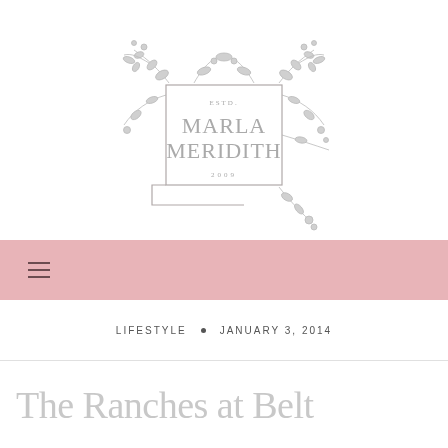[Figure (logo): Marla Meridith floral wreath logo with text ESTD. MARLA MERIDITH 2009 inside a decorative botanical frame]
≡
LIFESTYLE • JANUARY 3, 2014
The Ranches at Belt